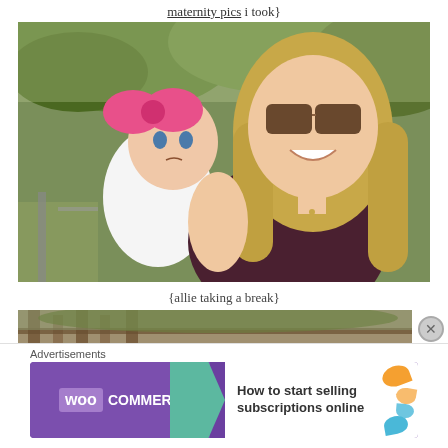maternity pics i took}
[Figure (photo): A smiling woman with long blonde hair wearing dark sunglasses and a dark maroon top, holding a baby wearing a white onesie with a large pink bow headband. Background shows green trees and a sunny outdoor setting.]
{allie taking a break}
[Figure (photo): Partially visible bottom photo showing an outdoor scene with wooden fence/posts and trees.]
Advertisements
[Figure (other): WooCommerce advertisement banner: 'How to start selling subscriptions online']